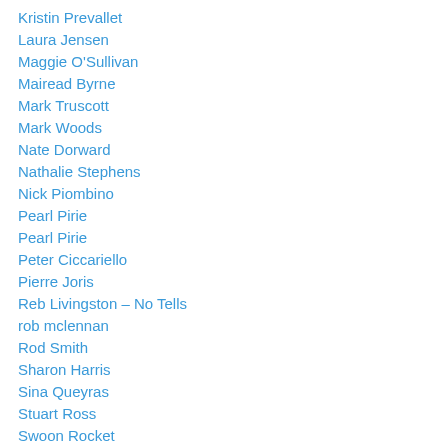Kristin Prevallet
Laura Jensen
Maggie O'Sullivan
Mairead Byrne
Mark Truscott
Mark Woods
Nate Dorward
Nathalie Stephens
Nick Piombino
Pearl Pirie
Pearl Pirie
Peter Ciccariello
Pierre Joris
Reb Livingston – No Tells
rob mclennan
Rod Smith
Sharon Harris
Sina Queyras
Stuart Ross
Swoon Rocket